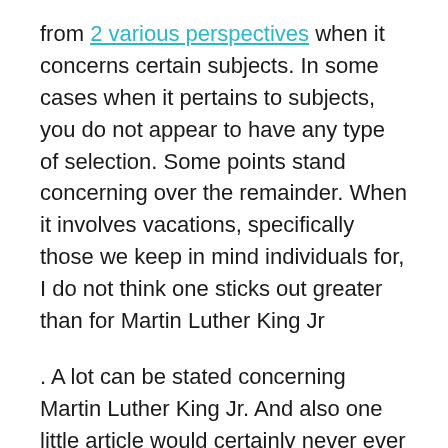from 2 various perspectives when it concerns certain subjects. In some cases when it pertains to subjects, you do not appear to have any type of selection. Some points stand concerning over the remainder. When it involves vacations, specifically those we keep in mind individuals for, I do not think one sticks out greater than for Martin Luther King Jr
. A lot can be stated concerning Martin Luther King Jr. And also one little article would certainly never ever justify the guy that combated so difficult for the civil liberties of others not simply himself. He functioned relentlessly to ensure that every guy stood equivalent prior to the legislation as well as